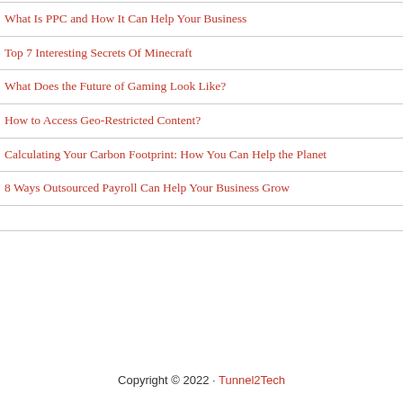What Is PPC and How It Can Help Your Business
Top 7 Interesting Secrets Of Minecraft
What Does the Future of Gaming Look Like?
How to Access Geo-Restricted Content?
Calculating Your Carbon Footprint: How You Can Help the Planet
8 Ways Outsourced Payroll Can Help Your Business Grow
Copyright © 2022 · Tunnel2Tech